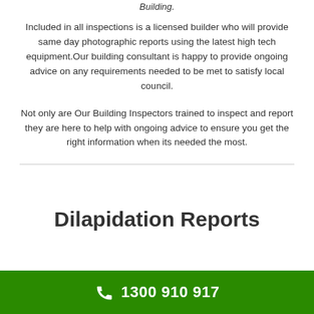Building.
Included in all inspections is a licensed builder who will provide same day photographic reports using the latest high tech equipment.Our building consultant is happy to provide ongoing advice on any requirements needed to be met to satisfy local council.
Not only are Our Building Inspectors trained to inspect and report they are here to help with ongoing advice to ensure you get the right information when its needed the most.
Dilapidation Reports
1300 910 917